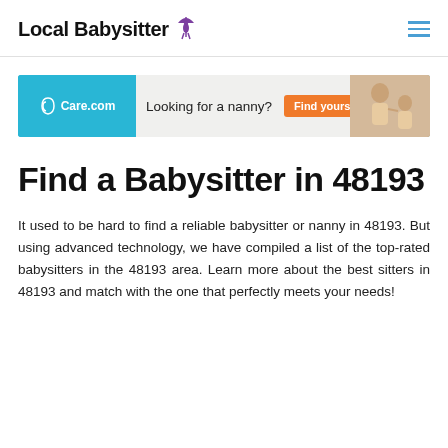Local Babysitter
[Figure (infographic): Care.com advertisement banner: teal background on left with Care.com logo, text 'Looking for a nanny? Find yours' with orange button on right, photo of woman with child]
Find a Babysitter in 48193
It used to be hard to find a reliable babysitter or nanny in 48193. But using advanced technology, we have compiled a list of the top-rated babysitters in the 48193 area. Learn more about the best sitters in 48193 and match with the one that perfectly meets your needs!